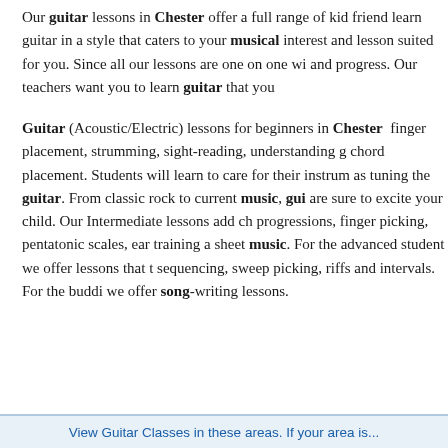Our guitar lessons in Chester offer a full range of kid friend... learn guitar in a style that caters to your musical interest and... lesson suited for you. Since all our lessons are one on one wi... and progress. Our teachers want you to learn guitar that you...
Guitar (Acoustic/Electric) lessons for beginners in Chester ... finger placement, strumming, sight-reading, understanding g... chord placement. Students will learn to care for their instrum... as tuning the guitar. From classic rock to current music, gui... are sure to excite your child. Our Intermediate lessons add ch... progressions, finger picking, pentatonic scales, ear training a... sheet music. For the advanced student we offer lessons that t... sequencing, sweep picking, riffs and intervals. For the buddi... we offer song-writing lessons.
View Guitar Classes in these areas. If your area is...